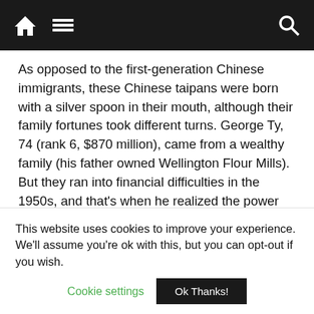Navigation bar with home, menu, and search icons
As opposed to the first-generation Chinese immigrants, these Chinese taipans were born with a silver spoon in their mouth, although their family fortunes took different turns. George Ty, 74 (rank 6, $870 million), came from a wealthy family (his father owned Wellington Flour Mills). But they ran into financial difficulties in the 1950s, and that's when he realized the power banks hold. This led him to start his own bank, and now Metrobank is one of biggest in the Philippines. He also owns Federal Land and Toyota Motors Philippines.
This website uses cookies to improve your experience. We'll assume you're ok with this, but you can opt-out if you wish.
Cookie settings  Ok Thanks!